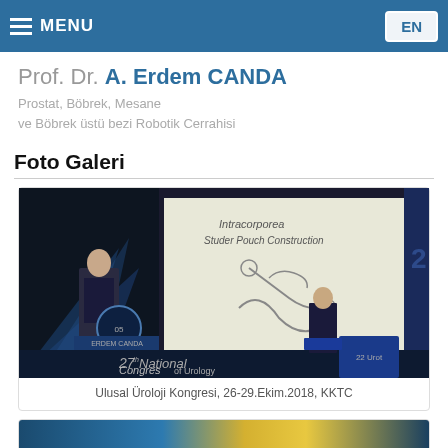MENU | EN
Prof. Dr. A. Erdem CANDA
Prostat, Böbrek, Mesane
ve Böbrek üstü bezi Robotik Cerrahisi
Foto Galeri
[Figure (photo): Conference presentation photo showing a speaker at a podium at the 27th National Congress of Urology with a slide showing 'Intracorporeal Studer Pouch Construction' displayed on screen, KKTC 2018]
Ulusal Üroloji Kongresi, 26-29.Ekim.2018, KKTC
[Figure (photo): Partial view of a second gallery photo, partially visible at the bottom of the page]